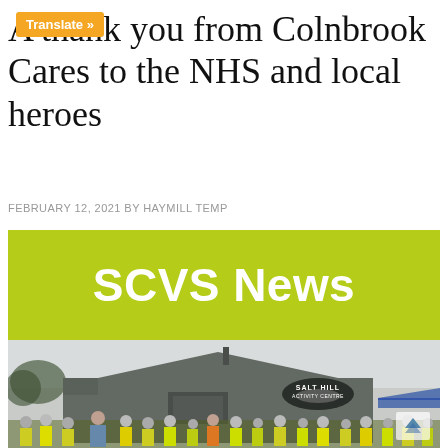A thank you from Colnbrook Cares to the NHS and local heroes
FEBRUARY 12, 2021 BY HAYMILL TEMP
[Figure (illustration): Green banner with white bold text 'SCVS News']
[Figure (photo): Photo of Salt Hill Activity Centre building exterior with a group of people in yellow high-visibility vests and face masks standing in front. A blue tent/gazebo is visible to the right.]